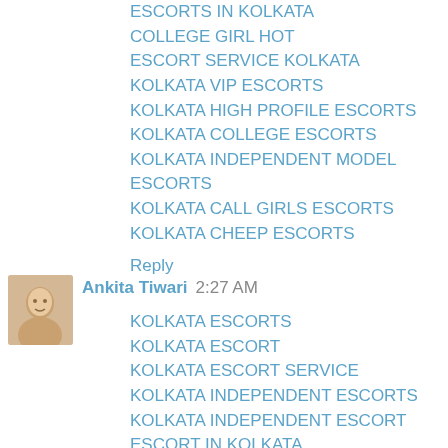ESCORTS IN KOLKATA
COLLEGE GIRL HOT
ESCORT SERVICE KOLKATA
KOLKATA VIP ESCORTS
KOLKATA HIGH PROFILE ESCORTS
KOLKATA COLLEGE ESCORTS
KOLKATA INDEPENDENT MODEL ESCORTS
KOLKATA CALL GIRLS ESCORTS
KOLKATA CHEEP ESCORTS
Reply
Ankita Tiwari  2:27 AM
KOLKATA ESCORTS
KOLKATA ESCORT
KOLKATA ESCORT SERVICE
KOLKATA INDEPENDENT ESCORTS
KOLKATA INDEPENDENT ESCORT
ESCORT IN KOLKATA
ESCORTS IN KOLKATA
VILLAGE CALL GIRLS
VILLAGE CALL GIRL